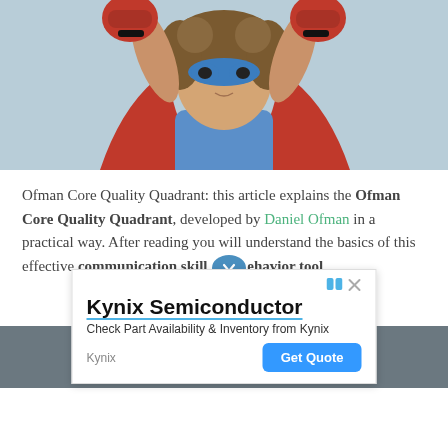[Figure (photo): Child dressed as superhero wearing blue mask, red cape, and red boxing gloves, arms raised in power pose against light blue-gray background]
Ofman Core Quality Quadrant: this article explains the Ofman Core Quality Quadrant, developed by Daniel Ofman in a practical way. After reading you will understand the basics of this effective communication skill and behavior tool.
[Figure (other): Advertisement banner for Kynix Semiconductor: 'Check Part Availability & Inventory from Kynix' with Get Quote button]